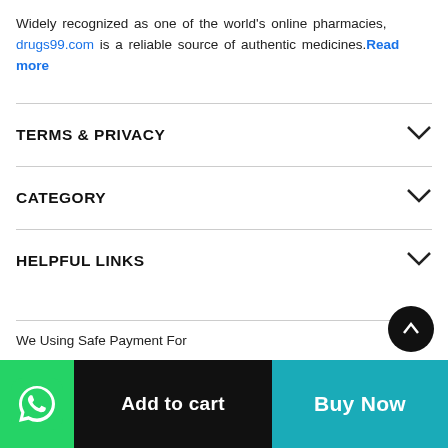Widely recognized as one of the world's online pharmacies, drugs99.com is a reliable source of authentic medicines. Read more
TERMS & PRIVACY
CATEGORY
HELPFUL LINKS
We Using Safe Payment For
Add to cart
Buy Now